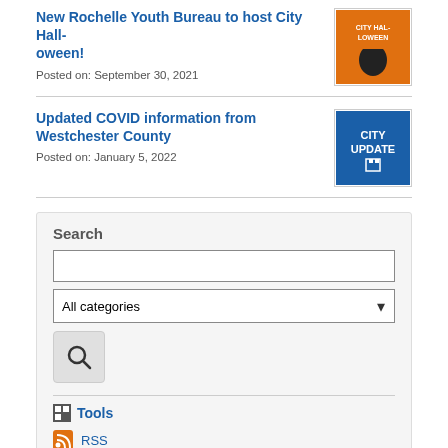New Rochelle Youth Bureau to host City Halloween!
Posted on: September 30, 2021
[Figure (illustration): Orange Halloween event flyer thumbnail]
Updated COVID information from Westchester County
Posted on: January 5, 2022
[Figure (illustration): Blue City Update thumbnail with text CITY UPDATE]
Search
All categories
Tools
RSS
Notify Me
Categories
All Categories